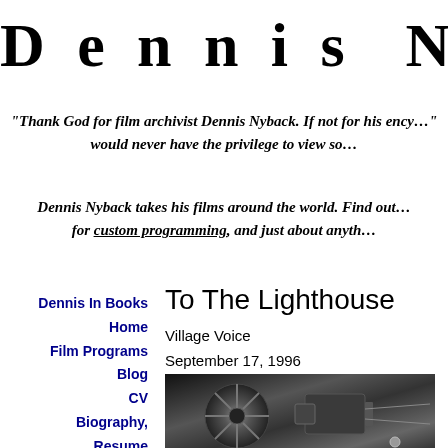Dennis Ny…
"Thank God for film archivist Dennis Nyback. If not for his ency… would never have the privilege to view so…
Dennis Nyback takes his films around the world. Find out… for custom programming, and just about anyth…
Dennis In Books
Home
Film Programs
Blog
CV
Biography, Resume
Reviews
Book a Show
To The Lighthouse
Village Voice
September 17, 1996
[Figure (photo): Black and white photograph of a film projector reel and machinery]